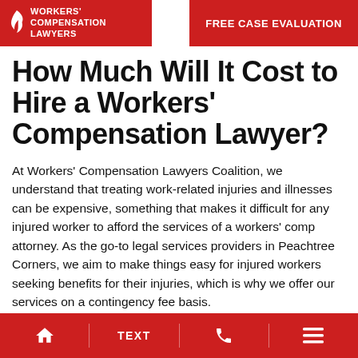Workers' Compensation Lawyers | FREE CASE EVALUATION
How Much Will It Cost to Hire a Workers' Compensation Lawyer?
At Workers' Compensation Lawyers Coalition, we understand that treating work-related injuries and illnesses can be expensive, something that makes it difficult for any injured worker to afford the services of a workers' comp attorney. As the go-to legal services providers in Peachtree Corners, we aim to make things easy for injured workers seeking benefits for their injuries, which is why we offer our services on a contingency fee basis.
Home | TEXT | Call | Menu